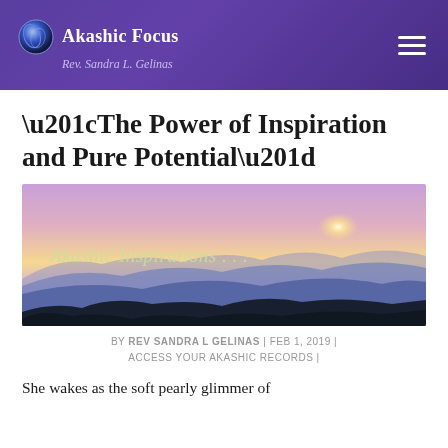Akashic Focus — Rev. Sandra L. Gelinas
“The Power of Inspiration and Pure Potential”
[Figure (photo): Scenic mountain ridge at sunset with purple and pink sky; text overlay reads 'Akashic Inspirations . . .']
BY REV SANDRA L GELINAS | FEB 1, 2019 | ACCESS YOUR AKASHIC RECORDS |
She wakes as the soft pearly glimmer of